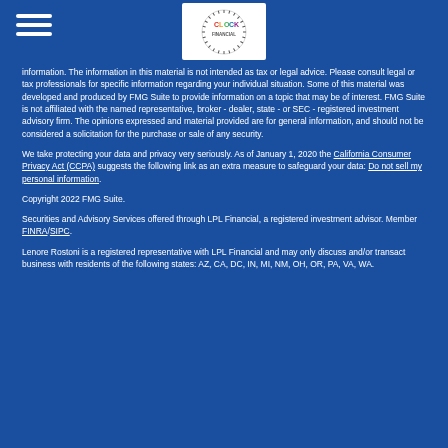[Figure (logo): Clock Financial logo — circular emblem with colorful text reading CLOCK and FINANCIAL in center, surrounded by tick marks around the border, on white background]
information. The information in this material is not intended as tax or legal advice. Please consult legal or tax professionals for specific information regarding your individual situation. Some of this material was developed and produced by FMG Suite to provide information on a topic that may be of interest. FMG Suite is not affiliated with the named representative, broker - dealer, state - or SEC - registered investment advisory firm. The opinions expressed and material provided are for general information, and should not be considered a solicitation for the purchase or sale of any security.
We take protecting your data and privacy very seriously. As of January 1, 2020 the California Consumer Privacy Act (CCPA) suggests the following link as an extra measure to safeguard your data: Do not sell my personal information.
Copyright 2022 FMG Suite.
Securities and Advisory Services offered through LPL Financial, a registered investment advisor. Member FINRA/SIPC.
Lenore Rostoni is a registered representative with LPL Financial and may only discuss and/or transact business with residents of the following states: AZ, CA, DC, IN, MI, NM, OH, OR, PA, VA, WA.